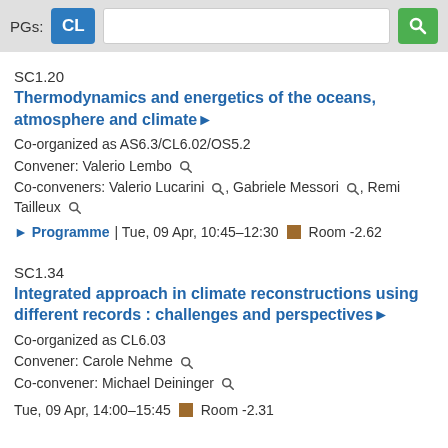PGs: CL [search box] [search button]
SC1.20
Thermodynamics and energetics of the oceans, atmosphere and climate▶
Co-organized as AS6.3/CL6.02/OS5.2
Convener: Valerio Lembo 🔍
Co-conveners: Valerio Lucarini 🔍, Gabriele Messori 🔍, Remi Tailleux 🔍
▶ Programme | Tue, 09 Apr, 10:45–12:30 ■ Room -2.62
SC1.34
Integrated approach in climate reconstructions using different records : challenges and perspectives▶
Co-organized as CL6.03
Convener: Carole Nehme 🔍
Co-convener: Michael Deininger 🔍
Tue, 09 Apr, 14:00–15:45 ■ Room -2.31